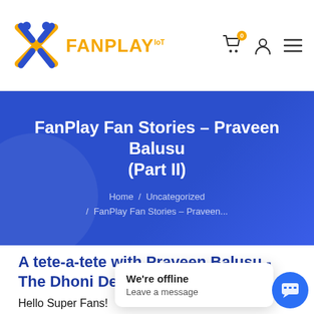FanPlay logo and navigation: cart (0), user icon, menu
FanPlay Fan Stories – Praveen Balusu (Part II)
Home / Uncategorized / FanPlay Fan Stories – Praveen...
A tete-a-tete with Praveen Balusu - The Dhoni Devotee
Hello Super Fans!
We're offline
Leave a message